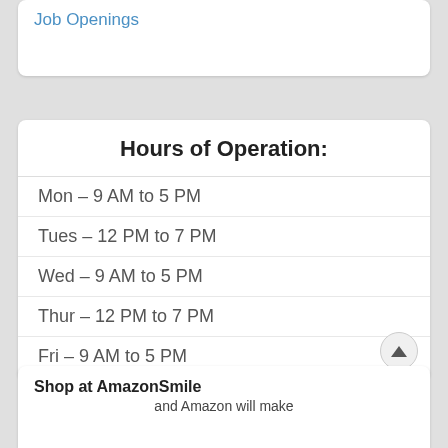Job Openings
Hours of Operation:
Mon – 9 AM to 5 PM
Tues – 12 PM to 7 PM
Wed – 9 AM to 5 PM
Thur – 12 PM to 7 PM
Fri – 9 AM to 5 PM
Sat – 9 AM to 4 PM
Sun – closed
Shop at AmazonSmile and Amazon will make